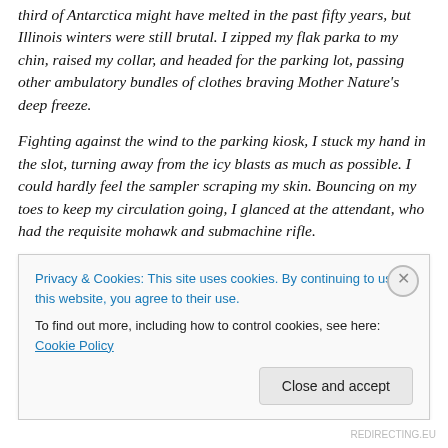third of Antarctica might have melted in the past fifty years, but Illinois winters were still brutal.  I zipped my flak parka to my chin, raised my collar, and headed for the parking lot, passing other ambulatory bundles of clothes braving Mother Nature's deep freeze.
Fighting against the wind to the parking kiosk, I stuck my hand in the slot, turning away from the icy blasts as much as possible.  I could hardly feel the sampler scraping my skin.  Bouncing on my toes to keep my circulation going, I glanced at the attendant, who had the requisite mohawk and submachine rifle.
Privacy & Cookies: This site uses cookies. By continuing to use this website, you agree to their use.
To find out more, including how to control cookies, see here: Cookie Policy
Close and accept
REDIRECTING.EU